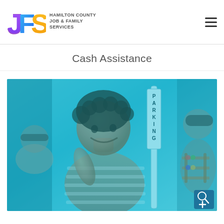[Figure (logo): JFS Hamilton County Job & Family Services logo with colorful letters J (purple), F (blue), S (yellow) and organization name text]
Cash Assistance
[Figure (photo): A smiling young boy with curly hair at a table with toys, including a PARKING sign toy. Another child visible in background. Image has a cyan/blue color overlay. A zoom/accessibility button appears in the bottom right corner.]